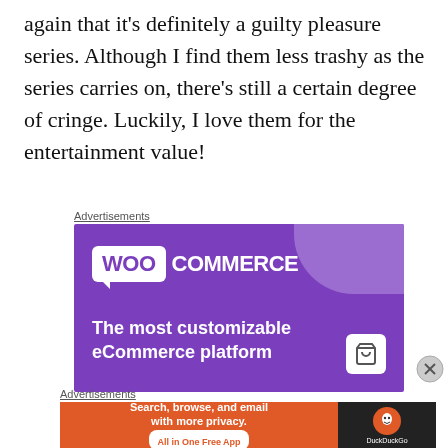again that it's definitely a guilty pleasure series. Although I find them less trashy as the series carries on, there's still a certain degree of cringe. Luckily, I love them for the entertainment value!
Advertisements
[Figure (illustration): WooCommerce advertisement banner on purple background with text 'The most customizable eCommerce platform' and a shopping cart icon]
Advertisements
[Figure (illustration): DuckDuckGo advertisement banner: 'Search, browse, and email with more privacy. All in One Free App' on orange background with DuckDuckGo logo on dark background]